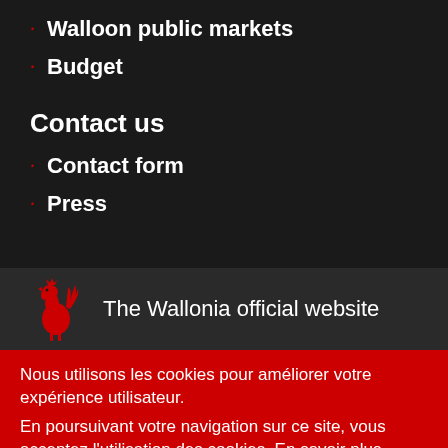Walloon public markets
Budget
Contact us
Contact form
Press
[Figure (logo): Red rooster logo of Wallonia with text 'The Wallonia official website']
Nous utilisons les cookies pour améliorer votre expérience utilisateur.
En poursuivant votre navigation sur ce site, vous acceptez l'utilisation des cookies. En savoir plus
J'accepte   Non merci